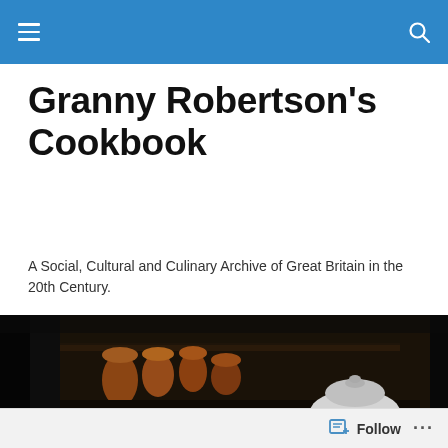Navigation bar with hamburger menu and search icon
Granny Robertson's Cookbook
A Social, Cultural and Culinary Archive of Great Britain in the 20th Century.
[Figure (photo): Dark vintage kitchen interior with copper pots on a shelf and a silver cloche on a table in the foreground]
A Staffordshire Christmas
Follow ...